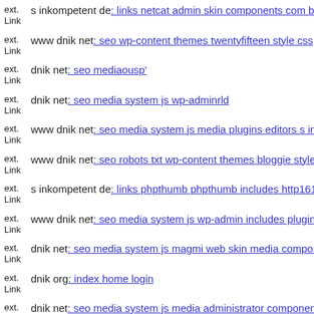ext. Link s inkompetent de: links netcat admin skin components com b2j
ext. Link www dnik net: seo wp-content themes twentyfifteen style css
ext. Link dnik net: seo mediaousp'
ext. Link dnik net: seo media system js wp-adminrld
ext. Link www dnik net: seo media system js media plugins editors s ink
ext. Link www dnik net: seo robots txt wp-content themes bloggie style c
ext. Link s inkompetent de: links phpthumb phpthumb includes http1614
ext. Link www dnik net: seo media system js wp-admin includes plugins
ext. Link dnik net: seo media system js magmi web skin media compone
ext. Link dnik org: index home login
ext. Link dnik net: seo media system js media administrator components